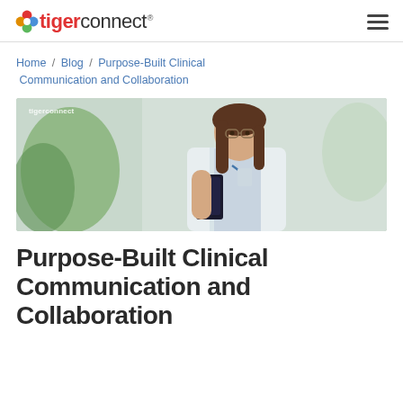tigerconnect
Home / Blog / Purpose-Built Clinical Communication and Collaboration
[Figure (photo): A female doctor or healthcare professional with glasses and long brown hair, wearing a white lab coat with a stethoscope, looking at a smartphone. Background shows a blurred indoor clinical setting with greenery.]
Purpose-Built Clinical Communication and Collaboration